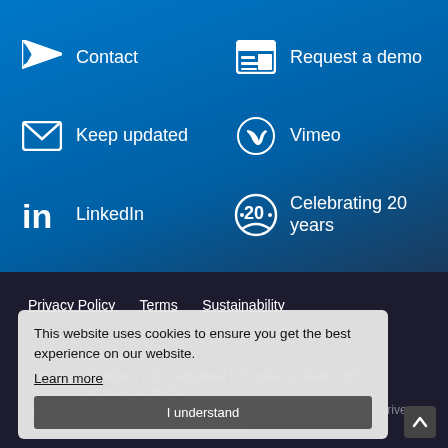[Figure (infographic): Blue gradient section with navigation links: Contact (paper plane icon), Request a demo (layout icon), Keep updated (envelope icon), Vimeo (Vimeo logo), LinkedIn (LinkedIn logo), Celebrating 20 years (20th anniversary logo)]
Privacy Policy   Terms   Sustainability
Members Area
This website uses cookies to ensure you get the best experience on our website.
Learn more
I understand
Clearmark Solutions Ltd is registered in England & Wales with registered number 04249374
VAT No. 780117346. Registered Office: Olympic House, 1 Willow Drive, Sherwood Park, Nottingham, NG15 0DR